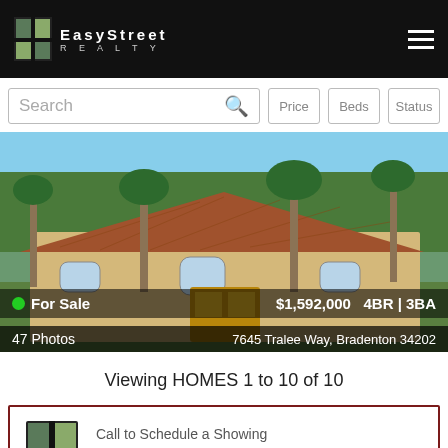[Figure (logo): Easy Street Realty logo with icon and text on black header bar]
[Figure (screenshot): Search bar with Price, Beds, Status filter buttons]
[Figure (photo): Exterior photo of a large Florida home with tile roof, palm trees. Overlay shows: For Sale, $1,592,000, 4BR | 3BA, 47 Photos, 7645 Tralee Way, Bradenton 34202]
Viewing HOMES 1 to 10 of 10
Call to Schedule a Showing
(813) 452-4165